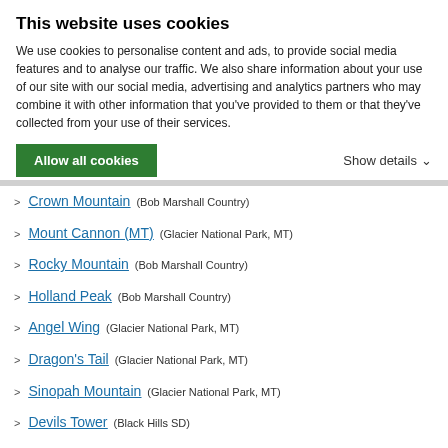This website uses cookies
We use cookies to personalise content and ads, to provide social media features and to analyse our traffic. We also share information about your use of our site with our social media, advertising and analytics partners who may combine it with other information that you’ve provided to them or that they’ve collected from your use of their services.
Allow all cookies | Show details
Crown Mountain (Bob Marshall Country)
Mount Cannon (MT) (Glacier National Park, MT)
Rocky Mountain (Bob Marshall Country)
Holland Peak (Bob Marshall Country)
Angel Wing (Glacier National Park, MT)
Dragon's Tail (Glacier National Park, MT)
Sinopah Mountain (Glacier National Park, MT)
Devils Tower (Black Hills SD)
Saint Joseph Peak (Bitterroot Mountains)